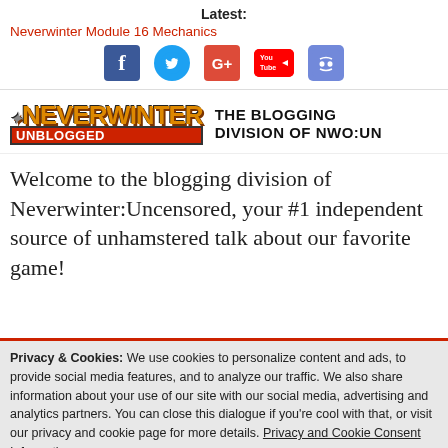Latest: Neverwinter Module 16 Mechanics
[Figure (infographic): Social media icons: Facebook, Twitter, Google+, YouTube, Discord]
[Figure (logo): Neverwinter Unblogged logo with tagline: THE BLOGGING DIVISION OF NWO:UN]
Welcome to the blogging division of Neverwinter:Uncensored, your #1 independent source of unhamstered talk about our favorite game!
Privacy & Cookies: We use cookies to personalize content and ads, to provide social media features, and to analyze our traffic. We also share information about your use of our site with our social media, advertising and analytics partners. You can close this dialogue if you're cool with that, or visit our privacy and cookie page for more details. Privacy and Cookie Consent Information
The Lowbie Diaries Vol.
41: Farming the River